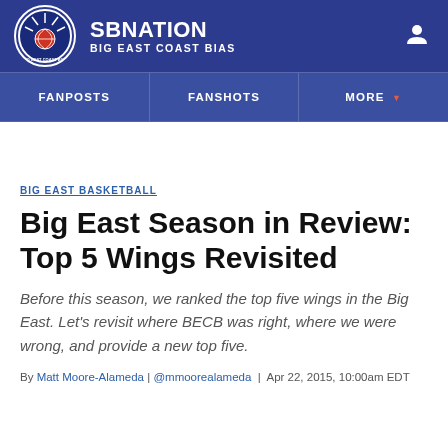SBNATION BIG EAST COAST BIAS
FANPOSTS | FANSHOTS | MORE
BIG EAST BASKETBALL
Big East Season in Review: Top 5 Wings Revisited
Before this season, we ranked the top five wings in the Big East. Let's revisit where BECB was right, where we were wrong, and provide a new top five.
By Matt Moore-Alameda | @mmoorealameda | Apr 22, 2015, 10:00am EDT